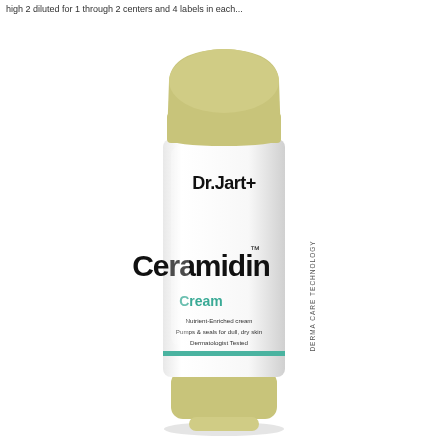high 2 diluted for 1 through 2 centers and 4 labels in each...
[Figure (photo): Dr.Jart+ Ceramidin Cream tube product photo. White squeeze tube with olive/yellow-green cap area at top and bottom. Label reads 'Dr.Jart+' in bold black, 'Ceramidin TM' in large bold black font, 'DERMA CARE TECHNOLOGY' vertically in small caps, 'Cream' in teal/green, 'Nutrient-Enriched cream', 'Pumps & seals for dull, dry skin', 'Dermatologist Tested'. A teal horizontal stripe near bottom of tube body.]